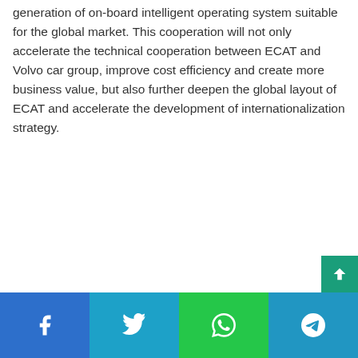generation of on-board intelligent operating system suitable for the global market. This cooperation will not only accelerate the technical cooperation between ECAT and Volvo car group, improve cost efficiency and create more business value, but also further deepen the global layout of ECAT and accelerate the development of internationalization strategy.
[Figure (other): Social media share bar with Facebook, Twitter, WhatsApp, and Telegram buttons, and a scroll-to-top button in teal/green.]